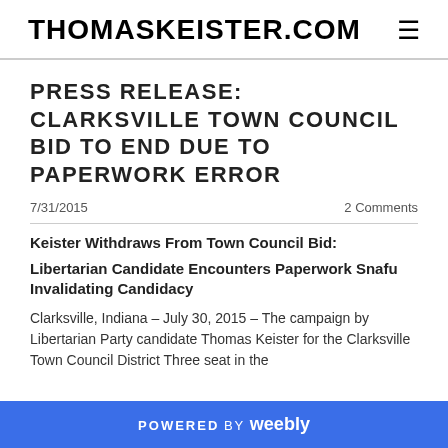THOMASKEISTER.COM
PRESS RELEASE: CLARKSVILLE TOWN COUNCIL BID TO END DUE TO PAPERWORK ERROR
7/31/2015    2 Comments
Keister Withdraws From Town Council Bid:
Libertarian Candidate Encounters Paperwork Snafu Invalidating Candidacy
Clarksville, Indiana – July 30, 2015 – The campaign by Libertarian Party candidate Thomas Keister for the Clarksville Town Council District Three seat in the
POWERED BY weebly